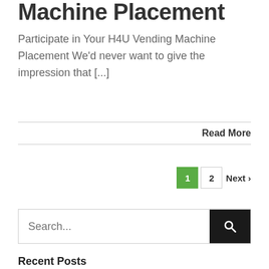Machine Placement
Participate in Your H4U Vending Machine Placement We'd never want to give the impression that [...]
Read More
1  2  Next >
Search...
Recent Posts